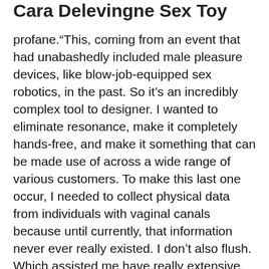Cara Delevingne Sex Toy
profane.“This, coming from an event that had unabashedly included male pleasure devices, like blow-job-equipped sex robotics, in the past. So it’s an incredibly complex tool to designer. I wanted to eliminate resonance, make it completely hands-free, and make it something that can be made use of across a wide range of various customers. To make this last one occur, I needed to collect physical data from individuals with vaginal canals because until currently, that information never ever really existed. I don’t also flush. Which assisted me have really extensive, sincere conversations with buddies as well as family . I sent out a study to a wider audience, and also we got close to